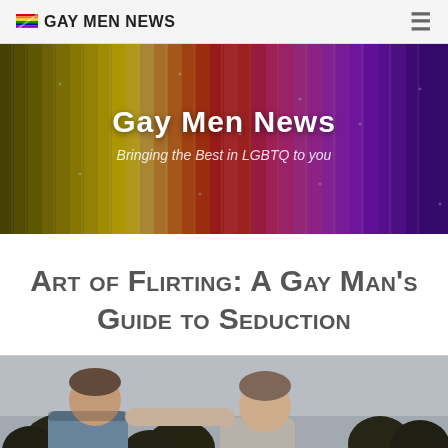Gay Men News
[Figure (illustration): Colorful vertical rainbow striped banner with text 'Gay Men News' and subtitle 'Bringing the Best in LGBTQ to you']
Art of Flirting: A Gay Man's Guide to Seduction
[Figure (photo): Photo of two young men smiling outdoors with trees and sky in background]